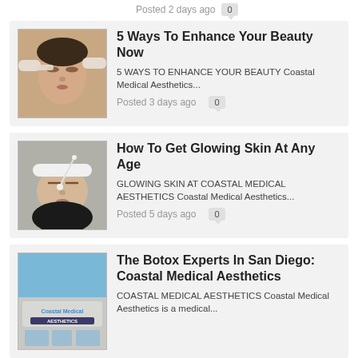Posted 2 days ago  0
5 Ways To Enhance Your Beauty Now
5 WAYS TO ENHANCE YOUR BEAUTY Coastal Medical Aesthetics...
Posted 3 days ago  0
[Figure (photo): Woman receiving facial aesthetic treatment with gloved hands applying something near her eye]
How To Get Glowing Skin At Any Age
GLOWING SKIN AT COASTAL MEDICAL AESTHETICS Coastal Medical Aesthetics...
Posted 5 days ago  0
[Figure (photo): Woman with white headband receiving facial treatment with a cotton swab, lying down with eyes closed]
The Botox Experts In San Diego: Coastal Medical Aesthetics
COASTAL MEDICAL AESTHETICS Coastal Medical Aesthetics is a medical...
[Figure (photo): Coastal Medical Aesthetics building exterior sign]